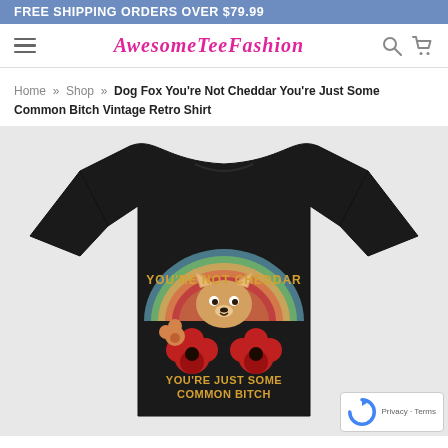FREE SHIPPING ORDERS OVER $79.99
[Figure (logo): AwesomeTeeFashion website navigation bar with hamburger menu, logo in pink italic serif font, search and cart icons]
Home » Shop » Dog Fox You're Not Cheddar You're Just Some Common Bitch Vintage Retro Shirt
[Figure (photo): Black t-shirt with vintage retro design featuring a fox/corgi dog surrounded by flowers, with text 'You're Not Cheddar You're Just Some Common Bitch' in circular arrangement on a sunset background]